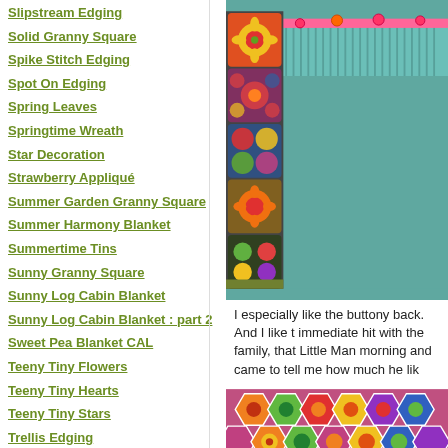Slipstream Edging
Solid Granny Square
Spike Stitch Edging
Spot On Edging
Spring Leaves
Springtime Wreath
Star Decoration
Strawberry Appliqué
Summer Garden Granny Square
Summer Harmony Blanket
Summertime Tins
Sunny Granny Square
Sunny Log Cabin Blanket
Sunny Log Cabin Blanket : part 2
Sweet Pea Blanket CAL
Teeny Tiny Flowers
Teeny Tiny Hearts
Teeny Tiny Stars
Trellis Edging
Trellis Stripe
Triple Layer Flower
Weekend Bag
Winter Garland
Woodland Blanket CAL
Woodland Ripple
Woolly Cl...
[Figure (photo): Close-up photo of teal/mint knitted garment with colorful crochet granny square border and buttons at the top back]
I especially like the buttony back. And I like t... immediate hit with the family, that Little Man... morning and came to tell me how much he lik...
[Figure (photo): Close-up photo of colorful crochet hexagon/granny square blanket with pink border]